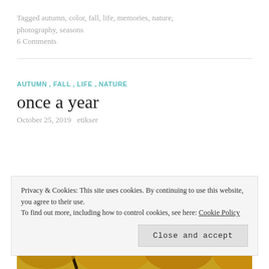Tagged autumn, color, fall, life, memories, nature, photography, seasons
6 Comments
AUTUMN, FALL, LIFE, NATURE
once a year
October 25, 2019   etikser
[Figure (photo): Autumn leaves with yellow and orange foliage against a blue sky, branches visible]
Privacy & Cookies: This site uses cookies. By continuing to use this website, you agree to their use. To find out more, including how to control cookies, see here: Cookie Policy
Close and accept